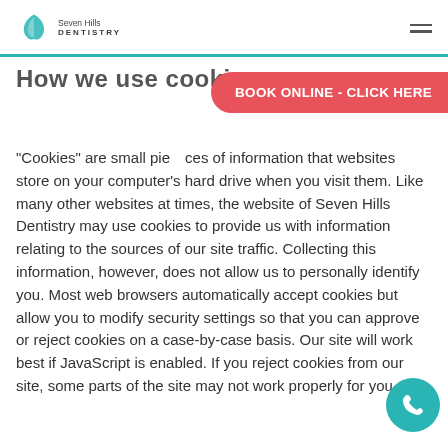Seven Hills Dentistry
How we use cookies
[Figure (other): Red pill-shaped banner button reading BOOK ONLINE - CLICK HERE]
“Cookies” are small pieces of information that websites store on your computer’s hard drive when you visit them. Like many other websites at times, the website of Seven Hills Dentistry may use cookies to provide us with information relating to the sources of our site traffic. Collecting this information, however, does not allow us to personally identify you. Most web browsers automatically accept cookies but allow you to modify security settings so that you can approve or reject cookies on a case-by-case basis. Our site will work best if JavaScript is enabled. If you reject cookies from our site, some parts of the site may not work properly for you.